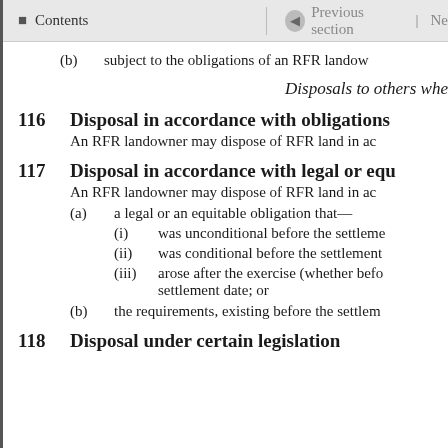Contents | Previous section | Ne
(b)   subject to the obligations of an RFR landow
Disposals to others whe
116   Disposal in accordance with obligations
An RFR landowner may dispose of RFR land in ac
117   Disposal in accordance with legal or equ
An RFR landowner may dispose of RFR land in ac
(a)   a legal or an equitable obligation that—
(i)   was unconditional before the settleme
(ii)   was conditional before the settlement
(iii)   arose after the exercise (whether befo settlement date; or
(b)   the requirements, existing before the settlem
118   Disposal under certain legislation